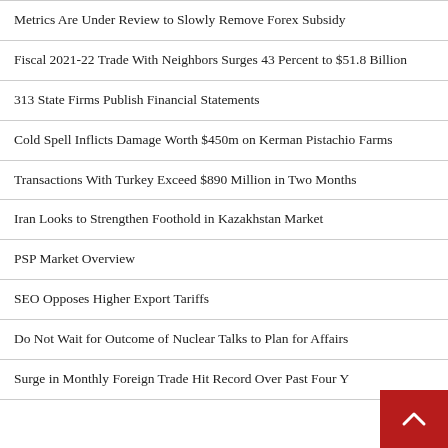Metrics Are Under Review to Slowly Remove Forex Subsidy
Fiscal 2021-22 Trade With Neighbors Surges 43 Percent to $51.8 Billion
313 State Firms Publish Financial Statements
Cold Spell Inflicts Damage Worth $450m on Kerman Pistachio Farms
Transactions With Turkey Exceed $890 Million in Two Months
Iran Looks to Strengthen Foothold in Kazakhstan Market
PSP Market Overview
SEO Opposes Higher Export Tariffs
Do Not Wait for Outcome of Nuclear Talks to Plan for Affairs
Surge in Monthly Foreign Trade Hit Record Over Past Four Y…